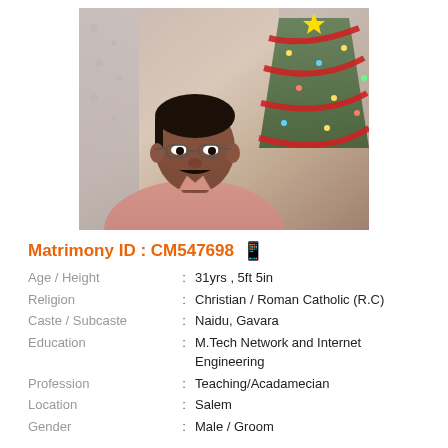[Figure (photo): Portrait photo of a man with glasses and mustache wearing a pink shirt, seated in front of a Christmas tree with red ribbons and decorations, white curtain backdrop]
Matrimony ID : CM547698
Age / Height : 31yrs , 5ft 5in
Religion : Christian / Roman Catholic (R.C)
Caste / Subcaste : Naidu, Gavara
Education : M.Tech Network and Internet Engineering
Profession : Teaching/Acadamecian
Location : Salem
Gender : Male / Groom